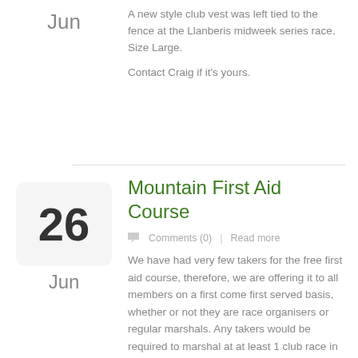Jun
A new style club vest was left tied to the fence at the Llanberis midweek series race.  Size Large.
Contact Craig if it's yours.
26
Jun
Mountain First Aid Course
Comments (0)  |  Read more
We have had very few takers for the free first aid course, therefore, we are offering it to all members on a first come first served basis, whether or not they are race organisers or regular marshals. Any takers would be required to marshal at at least 1 club race in return for being able to go on a FOC course.